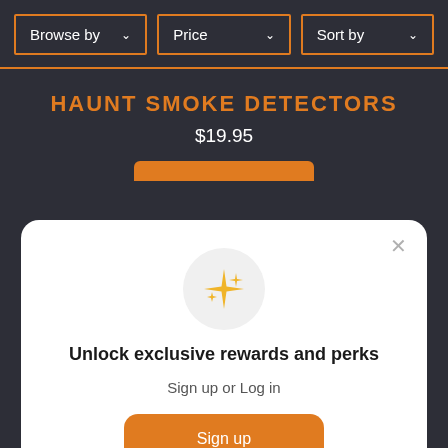[Figure (screenshot): Navigation bar with three dropdown menus: Browse by, Price, Sort by — orange bordered on dark background]
HAUNT SMOKE DETECTORS
$19.95
Unlock exclusive rewards and perks
Sign up or Log in
Sign up
Already have an account? Sign in